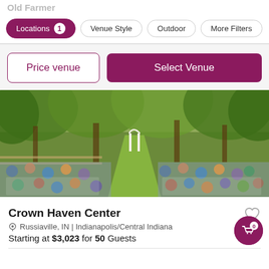Old Farmer
Locations 1
Venue Style
Outdoor
More Filters
Price venue
Select Venue
[Figure (photo): Outdoor wedding ceremony with guests seated in white chairs on both sides of a grassy aisle, with a floral arch at the altar and tall trees in the background.]
Crown Haven Center
Russiaville, IN | Indianapolis/Central Indiana
Starting at $3,023 for 50 Guests